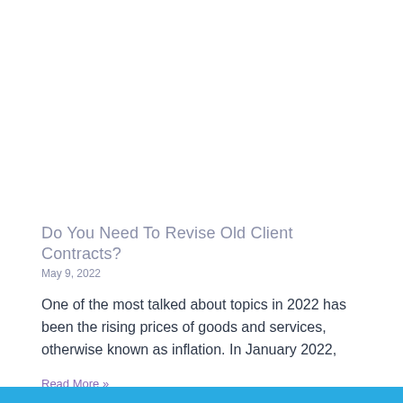Do You Need To Revise Old Client Contracts?
May 9, 2022
One of the most talked about topics in 2022 has been the rising prices of goods and services, otherwise known as inflation. In January 2022,
Read More »